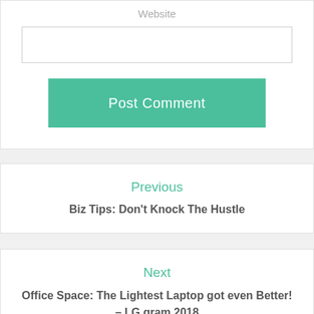Website
[Figure (screenshot): Empty text input field for website URL]
[Figure (screenshot): Post Comment button in teal/green color]
Previous
Biz Tips: Don't Knock The Hustle
Next
Office Space: The Lightest Laptop got even Better! – LG gram 2018